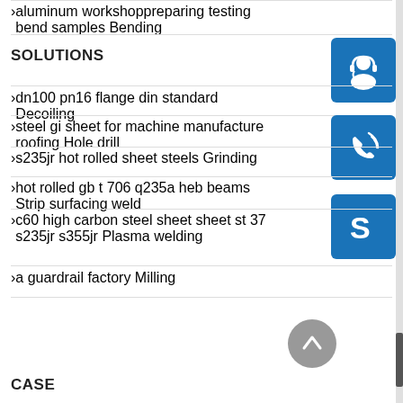aluminum workshoppreparing testing bend samples Bending
SOLUTIONS
dn100 pn16 flange din standard Decoiling
steel gi sheet for machine manufacture roofing Hole drill
s235jr hot rolled sheet steels Grinding
hot rolled gb t 706 q235a heb beams Strip surfacing weld
c60 high carbon steel sheet sheet st 37 s235jr s355jr Plasma welding
a guardrail factory Milling
[Figure (illustration): Blue square icon with white headset/support agent silhouette]
[Figure (illustration): Blue square icon with white phone/call waves silhouette]
[Figure (illustration): Blue square icon with white Skype logo]
CASE